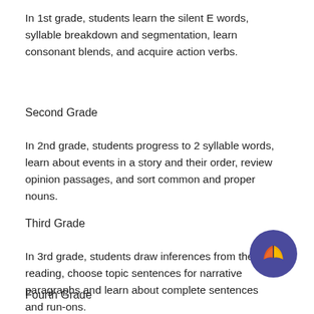In 1st grade, students learn the silent E words, syllable breakdown and segmentation, learn consonant blends, and acquire action verbs.
Second Grade
In 2nd grade, students progress to 2 syllable words, learn about events in a story and their order, review opinion passages, and sort common and proper nouns.
Third Grade
In 3rd grade, students draw inferences from their reading, choose topic sentences for narrative paragraphs and learn about complete sentences and run-ons.
[Figure (logo): Open book logo with orange and yellow pages on a dark purple/indigo circular background]
Fourth Grade